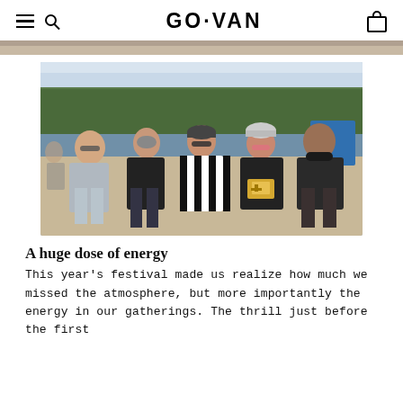GO·VAN
[Figure (photo): Partial top strip of a photo, showing natural outdoor scenery at top of page]
[Figure (photo): Group photo of five people standing together on a sandy beach area near a lake, with trees in the background. One person is wearing a black and white striped referee shirt. Others are in casual summer clothing.]
A huge dose of energy
This year's festival made us realize how much we missed the atmosphere, but more importantly the energy in our gatherings. The thrill just before the first